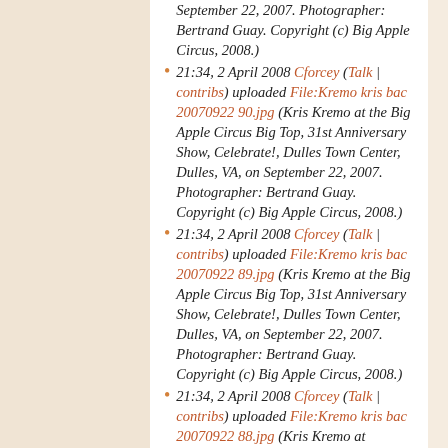September 22, 2007. Photographer: Bertrand Guay. Copyright (c) Big Apple Circus, 2008.)
21:34, 2 April 2008 Cforcey (Talk | contribs) uploaded File:Kremo kris bac 20070922 90.jpg (Kris Kremo at the Big Apple Circus Big Top, 31st Anniversary Show, Celebrate!, Dulles Town Center, Dulles, VA, on September 22, 2007. Photographer: Bertrand Guay. Copyright (c) Big Apple Circus, 2008.)
21:34, 2 April 2008 Cforcey (Talk | contribs) uploaded File:Kremo kris bac 20070922 89.jpg (Kris Kremo at the Big Apple Circus Big Top, 31st Anniversary Show, Celebrate!, Dulles Town Center, Dulles, VA, on September 22, 2007. Photographer: Bertrand Guay. Copyright (c) Big Apple Circus, 2008.)
21:34, 2 April 2008 Cforcey (Talk | contribs) uploaded File:Kremo kris bac 20070922 88.jpg (Kris Kremo at